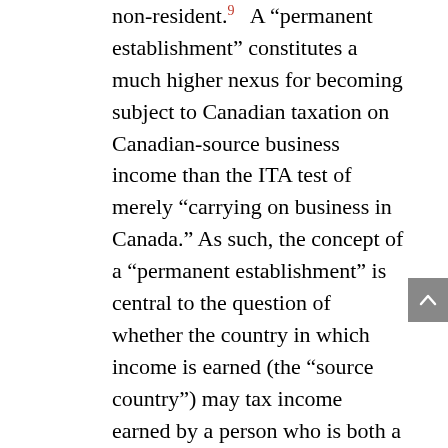non-resident.[9] A "permanent establishment" constitutes a much higher nexus for becoming subject to Canadian taxation on Canadian-source business income than the ITA test of merely "carrying on business in Canada." As such, the concept of a "permanent establishment" is central to the question of whether the country in which income is earned (the "source country") may tax income earned by a person who is both a resident of another country that has a tax treaty with Canada and who (under the terms of that treaty) is entitled to claim benefits under that treaty.[10] The Canadian tax jurisprudence that interprets this concept is essential to understanding its limits, and is reviewed in some detail below.
The "permanent establishment" article in each